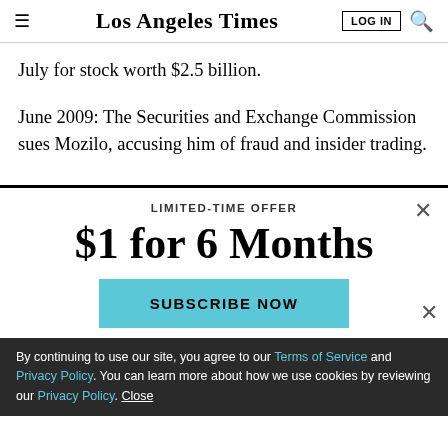Los Angeles Times | LOG IN | [search]
July for stock worth $2.5 billion.
June 2009: The Securities and Exchange Commission sues Mozilo, accusing him of fraud and insider trading.
LIMITED-TIME OFFER
$1 for 6 Months
SUBSCRIBE NOW
By continuing to use our site, you agree to our Terms of Service and Privacy Policy. You can learn more about how we use cookies by reviewing our Privacy Policy. Close